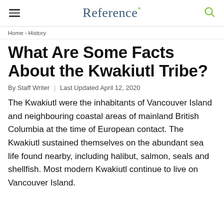Reference*
Home › History
What Are Some Facts About the Kwakiutl Tribe?
By Staff Writer | Last Updated April 12, 2020
The Kwakiutl were the inhabitants of Vancouver Island and neighbouring coastal areas of mainland British Columbia at the time of European contact. The Kwakiutl sustained themselves on the abundant sea life found nearby, including halibut, salmon, seals and shellfish. Most modern Kwakiutl continue to live on Vancouver Island.